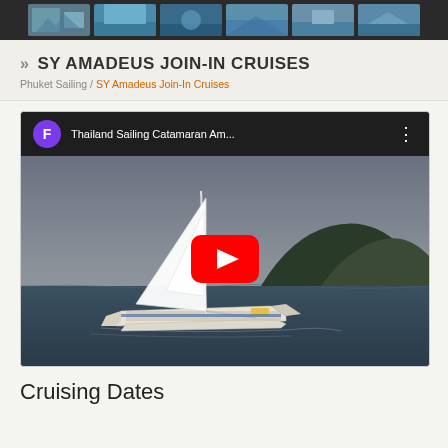[Figure (photo): Horizontal strip of thumbnail photos showing sailing and beach scenes on dark background]
» SY AMADEUS JOIN-IN CRUISES
Phuket Sailing / SY Amadeus Join-In Cruises
[Figure (screenshot): YouTube video embed showing Thailand Sailing Catamaran Amadeus with play button. Title bar shows purple F avatar and text 'Thailand Sailing Catamaran Am...' with three-dot menu.]
Cruising Dates